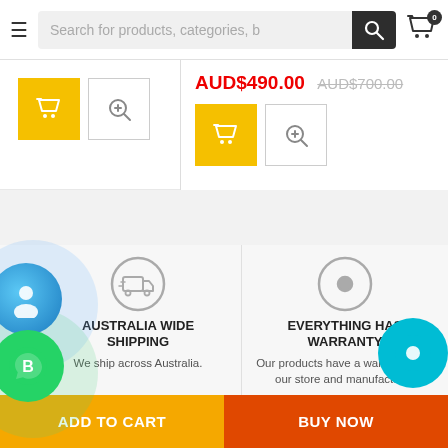[Figure (screenshot): E-commerce website header with hamburger menu, search bar, search button, and cart icon with 0 badge]
AUD$490.00
AUD$700.00
[Figure (screenshot): Add to cart (yellow) and zoom buttons on left; product card with price and buttons on right]
[Figure (infographic): Truck shipping icon in grey circle for Australia Wide Shipping feature]
AUSTRALIA WIDE SHIPPING
We ship across Australia.
[Figure (infographic): Warranty/target icon in grey circle for Everything Has Warranty feature]
EVERYTHING HAS WARRANTY
Our products have a warranty from our store and manufactur…
ADD TO CART
BUY NOW